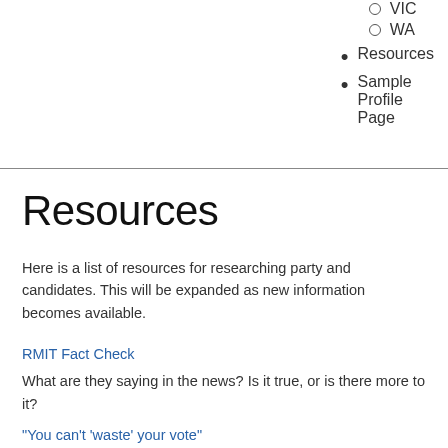VIC
WA
Resources
Sample Profile Page
Resources
Here is a list of resources for researching party and candidates. This will be expanded as new information becomes available.
RMIT Fact Check
What are they saying in the news? Is it true, or is there more to it?
“You can’t ‘waste’ your vote”
Australian voting system explained